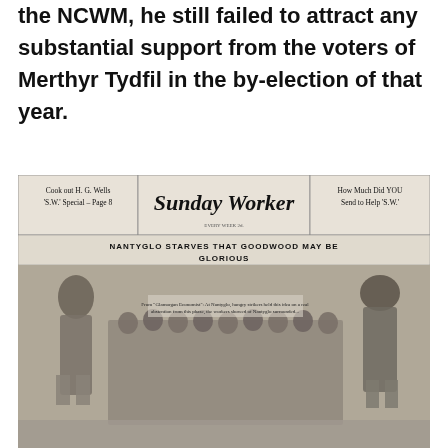the NCWM, he still failed to attract any substantial support from the voters of Merthyr Tydfil in the by-election of that year.
[Figure (photo): Front page of the Sunday Worker newspaper showing a photograph of a crowd of people with two women standing on either side. The headline reads 'NANTYGLO STARVES THAT GOODWOOD MAY BE GLORIOUS'. Side columns read 'Cook out H. G. Wells S.W. Special – Page 8' and 'How Much Did YOU Send to Help S.W.']